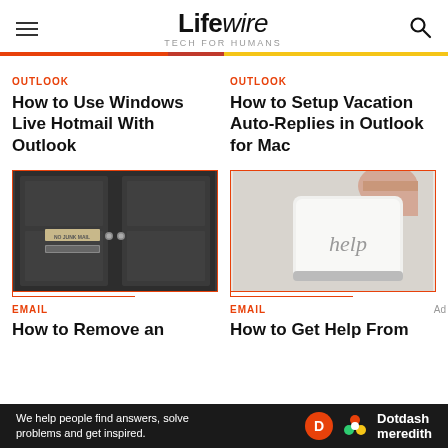Lifewire TECH FOR HUMANS
OUTLOOK
How to Use Windows Live Hotmail With Outlook
OUTLOOK
How to Setup Vacation Auto-Replies in Outlook for Mac
[Figure (photo): Dark door with NO JUNK MAIL sign and mail slot]
[Figure (photo): Close-up of a keyboard help key being pressed by a finger]
EMAIL
How to Remove an
EMAIL
How to Get Help From
We help people find answers, solve problems and get inspired. Dotdash meredith